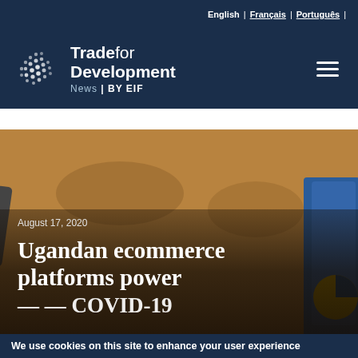English | Français | Português |
[Figure (logo): Trade for Development News by EIF logo with globe dot icon on dark blue header background, with hamburger menu icon on the right]
[Figure (photo): Hero image showing a craft/brown paper background with a blue-gloved hand on the right side holding circular items, and a tool on the left, with dark overlay gradient at the bottom]
August 17, 2020
Ugandan ecommerce platforms power
We use cookies on this site to enhance your user experience